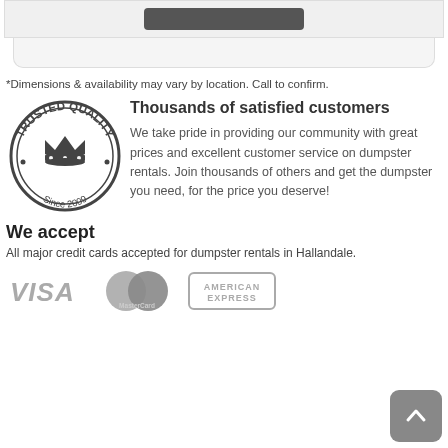[Figure (screenshot): Top partial UI bar with dark button element on grey background]
*Dimensions & availability may vary by location. Call to confirm.
[Figure (logo): Trusted Quality Since 2009 circular badge/seal logo in dark grey]
Thousands of satisfied customers
We take pride in providing our community with great prices and excellent customer service on dumpster rentals. Join thousands of others and get the dumpster you need, for the price you deserve!
We accept
All major credit cards accepted for dumpster rentals in Hallandale.
[Figure (logo): VISA, MasterCard, and American Express payment logos in grey]